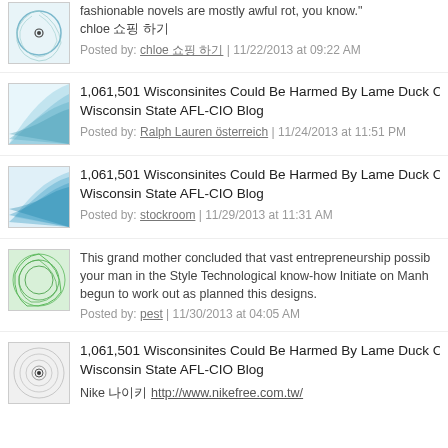fashionable novels are mostly awful rot, you know." chloe 쇼핑 하기
Posted by: chloe 쇼핑 하기 | 11/22/2013 at 09:22 AM
1,061,501 Wisconsinites Could Be Harmed By Lame Duck Con Wisconsin State AFL-CIO Blog
Posted by: Ralph Lauren österreich | 11/24/2013 at 11:51 PM
1,061,501 Wisconsinites Could Be Harmed By Lame Duck Con Wisconsin State AFL-CIO Blog
Posted by: stockroom | 11/29/2013 at 11:31 AM
This grand mother concluded that vast entrepreneurship possib your man in the Style Technological know-how Initiate on Manh begun to work out as planned this designs.
Posted by: pest | 11/30/2013 at 04:05 AM
1,061,501 Wisconsinites Could Be Harmed By Lame Duck Con Wisconsin State AFL-CIO Blog
Nike 나이키 http://www.nikefree.com.tw/